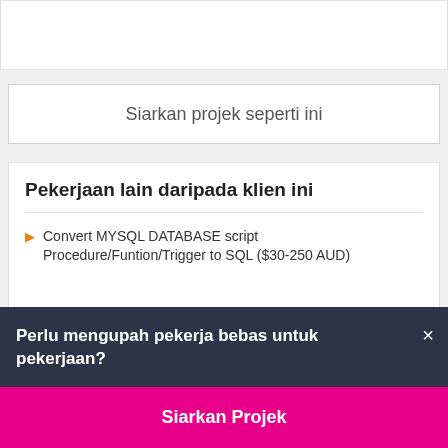[Figure (screenshot): Top portion of a white card, partially visible at the top of the screen showing a rating or score element]
Siarkan projek seperti ini
Pekerjaan lain daripada klien ini
Convert MYSQL DATABASE script Procedure/Funtion/Trigger to SQL ($30-250 AUD)
Perlu mengupah pekerja bebas untuk pekerjaan?
Siarkan Projek